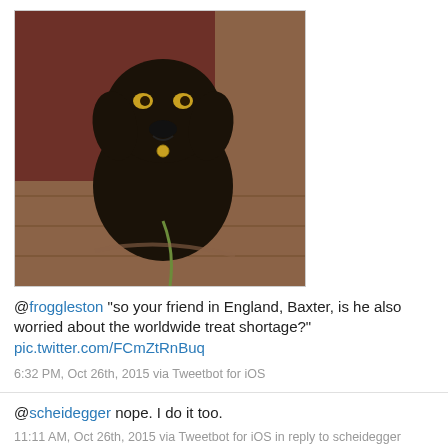[Figure (photo): A dark brown/black Labrador dog sitting on a wooden floor, looking up at the camera with a leash visible]
@froggleston "so your friend in England, Baxter, is he also worried about the worldwide treat shortage?" pic.twitter.com/FCmZtRnBuq
6:32 PM, Oct 26th, 2015 via Tweetbot for iOS
@scheidegger nope. I do it too.
11:11 AM, Oct 26th, 2015 via Tweetbot for iOS in reply to scheidegger
[Figure (photo): A green road sign reading NEW CUYAMA Population 562]